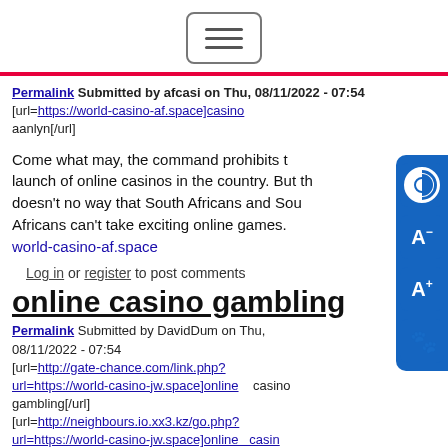[Figure (other): Hamburger menu button icon — three horizontal lines inside a rounded rectangle border]
Permalink Submitted by afcasi on Thu, 08/11/2022 - 07:54
[url=https://world-casino-af.space]casino aanlyn[/url]
Come what may, the command prohibits the launch of online casinos in the country. But that doesn't no way that South Africans and South Africans can't take exciting online games. world-casino-af.space
Log in or register to post comments
online casino gambling
Permalink Submitted by DavidDum on Thu, 08/11/2022 - 07:54
[url=http://gate-chance.com/link.php?url=https://world-casino-jw.space]online casino gambling[/url]
[url=http://neighbours.io.xx3.kz/go.php?url=https://world-casino-jw.space]online casino